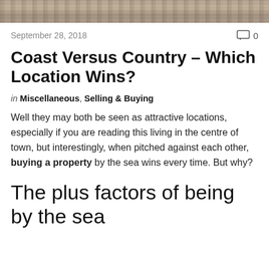[Figure (photo): A photograph strip at the top of the page showing what appears to be a coastal or outdoor scene with natural textures.]
September 28, 2018
0
Coast Versus Country – Which Location Wins?
in Miscellaneous, Selling & Buying
Well they may both be seen as attractive locations, especially if you are reading this living in the centre of town, but interestingly, when pitched against each other, buying a property by the sea wins every time. But why?
The plus factors of being by the sea